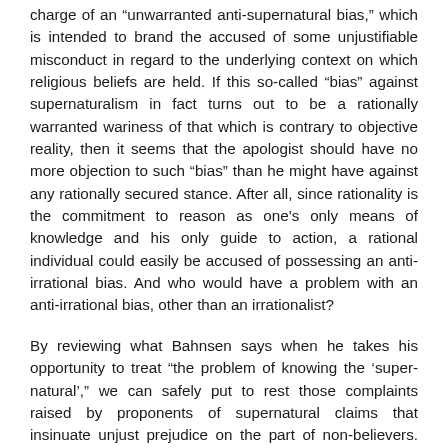charge of an "unwarranted anti-supernatural bias," which is intended to brand the accused of some unjustifiable misconduct in regard to the underlying context on which religious beliefs are held. If this so-called "bias" against supernaturalism in fact turns out to be a rationally warranted wariness of that which is contrary to objective reality, then it seems that the apologist should have no more objection to such "bias" than he might have against any rationally secured stance. After all, since rationality is the commitment to reason as one's only means of knowledge and his only guide to action, a rational individual could easily be accused of possessing an anti-irrational bias. And who would have a problem with an anti-irrational bias, other than an irrationalist?
By reviewing what Bahnsen says when he takes his opportunity to treat “the problem of knowing the ‘super-natural’,” we can safely put to rest those complaints raised by proponents of supernatural claims that insinuate unjust prejudice on the part of non-believers. Among the many points which I hope to bring out in my thoroughgoing analysis of Bahnsen’s presentation, I will show that he in fact